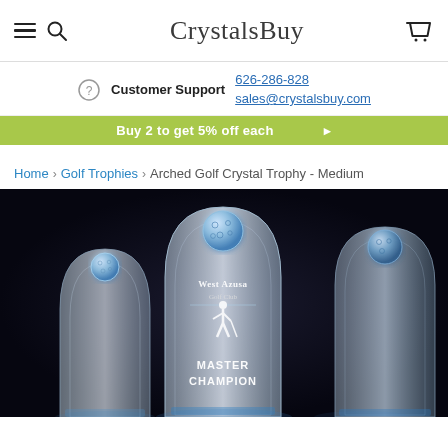CrystalsBuy
Customer Support 626-286-828 sales@crystalsbuy.com
Buy 2 to get 5% off each
Home > Golf Trophies > Arched Golf Crystal Trophy - Medium
[Figure (photo): Three arched crystal golf trophies displayed against a dark background, each featuring an embedded crystal golf ball at the top. The center trophy shows 'West Azusa Golf Club' with a golfer silhouette and text 'MASTER CHAMPION'.]